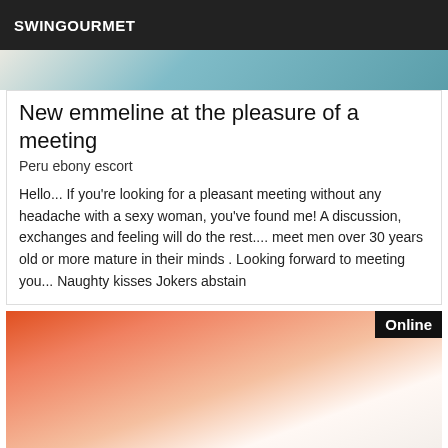SWINGOURMET
[Figure (photo): Partial view of a photo with teal/blue background at the top of a listing card]
New emmeline at the pleasure of a meeting
Peru ebony escort
Hello... If you're looking for a pleasant meeting without any headache with a sexy woman, you've found me! A discussion, exchanges and feeling will do the rest.... meet men over 30 years old or more mature in their minds . Looking forward to meeting you... Naughty kisses Jokers abstain
[Figure (photo): Photo of a person lying down on white fabric, partially visible, with Online badge in top-right corner]